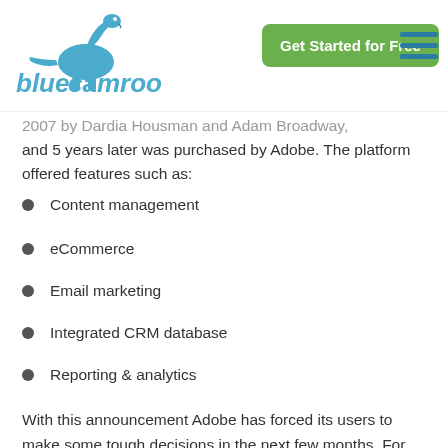blue camroo | Get Started for Free
2007 by Dardia Housman and Adam Broadway, and 5 years later was purchased by Adobe. The platform offered features such as:
Content management
eCommerce
Email marketing
Integrated CRM database
Reporting & analytics
With this announcement Adobe has forced its users to make some tough decisions in the next few months. For those Business Catalyst users who are now scrambling to find a new place for their websites Adobe will allow the download of